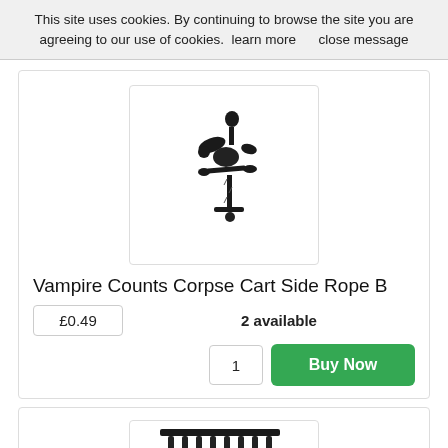This site uses cookies. By continuing to browse the site you are agreeing to our use of cookies.  learn more      close message
[Figure (photo): Product image of Vampire Counts Corpse Cart Side Rope B - a small black sculptural miniature piece]
Vampire Counts Corpse Cart Side Rope B
£0.49
2 available
1
Buy Now
[Figure (photo): Partial view of another product - appears to be multiple dark vertical spike/post miniature pieces]